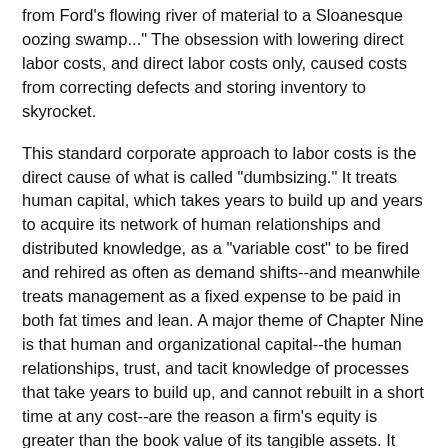from Ford's flowing river of material to a Sloanesque oozing swamp..." The obsession with lowering direct labor costs, and direct labor costs only, caused costs from correcting defects and storing inventory to skyrocket.
This standard corporate approach to labor costs is the direct cause of what is called "dumbsizing." It treats human capital, which takes years to build up and years to acquire its network of human relationships and distributed knowledge, as a "variable cost" to be fired and rehired as often as demand shifts--and meanwhile treats management as a fixed expense to be paid in both fat times and lean. A major theme of Chapter Nine is that human and organizational capital--the human relationships, trust, and tacit knowledge of processes that take years to build up, and cannot rebuilt in a short time at any cost--are the reason a firm's equity is greater than the book value of its tangible assets. It really is capital, and a productive asset. "Dumbsizing" disrupts and mutilates this human capital, and guts an organization's long-term productive capability. It's understandable, when the Sloan system treats labor as "the biggest profit detractor [a] company [has]..."